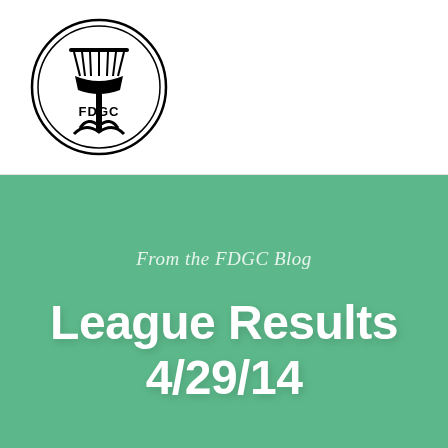[Figure (logo): FDGC disc golf club logo: circular badge with a disc golf basket/tree icon and text 'FDGC' inside]
[Figure (other): Teal/turquoise square in top-right corner with hamburger menu icon (three horizontal white lines)]
From the FDGC Blog
League Results 4/29/14